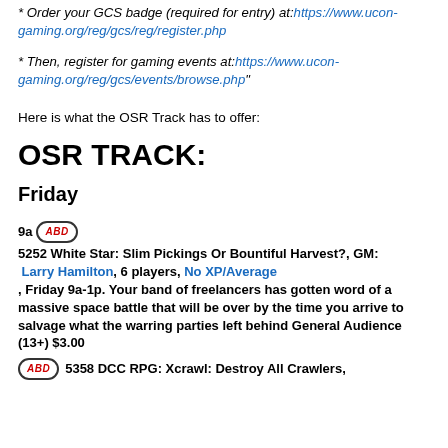Order your GCS badge (required for entry) at: https://www.ucon-gaming.org/reg/gcs/reg/register.php
* Then, register for gaming events at: https://www.ucon-gaming.org/reg/gcs/events/browse.php"
Here is what the OSR Track has to offer:
OSR TRACK:
Friday
9a [ABD badge] 5252 White Star: Slim Pickings Or Bountiful Harvest?, GM: Larry Hamilton, 6 players, No XP/Average, Friday 9a-1p. Your band of freelancers has gotten word of a massive space battle that will be over by the time you arrive to salvage what the warring parties left behind General Audience (13+) $3.00
[ABD badge] 5358 DCC RPG: Xcrawl: Destroy All Crawlers,